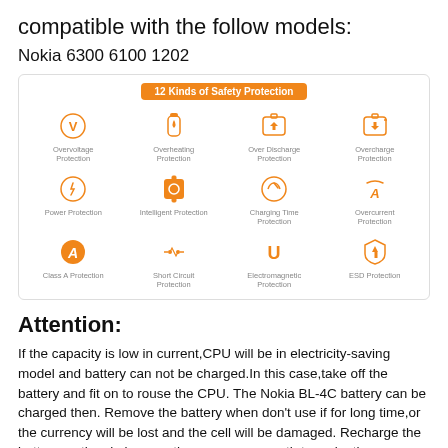compatible with the follow models:
Nokia 6300 6100 1202
[Figure (infographic): 12 Kinds of Safety Protection infographic with orange header and 12 icons: Overvoltage Protection, Overheating Protection, Over Discharge Protection, Overcharge Protection, Power Protection, Intelligent Protection, Charging Time Protection, Overcurrent Protection, Class A Protection, Short Circuit Protection, Electromagnetic Protection, ESD Protection]
Attention:
If the capacity is low in current,CPU will be in electricity-saving model and battery can not be charged.In this case,take off the battery and fit on to rouse the CPU. The Nokia BL-4C battery can be charged then. Remove the battery when don't use if for long time,or the currency will be lost and the cell will be damaged. Recharge the battery as the circle more than once per month to make the management of capacity reach its best state and make Nokia BL-4C Smarter.